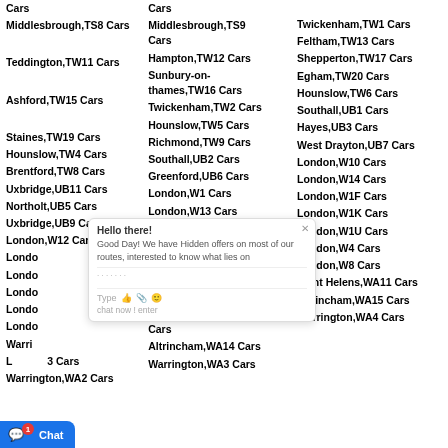Cars
Cars
Middlesbrough,TS8 Cars
Middlesbrough,TS9 Cars
Twickenham,TW1 Cars
Teddington,TW11 Cars
Hampton,TW12 Cars
Feltham,TW13 Cars
Ashford,TW15 Cars
Sunbury-on-thames,TW16 Cars
Shepperton,TW17 Cars
Staines,TW19 Cars
Twickenham,TW2 Cars
Egham,TW20 Cars
Hounslow,TW4 Cars
Hounslow,TW5 Cars
Hounslow,TW6 Cars
Brentford,TW8 Cars
Richmond,TW9 Cars
Southall,UB1 Cars
Uxbridge,UB11 Cars
Southall,UB2 Cars
Hayes,UB3 Cars
Northolt,UB5 Cars
Greenford,UB6 Cars
West Drayton,UB7 Cars
Uxbridge,UB9 Cars
London,W1 Cars
London,W10 Cars
London,W12 Cars
London,W13 Cars
London,W14 Cars
London,W1D Cars
London,W1F Cars
London,W1J Cars
London,W1K Cars
London,W1T Cars
London,W1U Cars
London,W3 Cars
London,W4 Cars
London,W7 Cars
London,W8 Cars
Warrington,WA Cars
Saint Helens,WA10 Cars
Saint Helens,WA11 Cars
London,W3 Cars
Altrincham,WA14 Cars
Altrincham,WA15 Cars
Warrington,WA2 Cars
Warrington,WA3 Cars
Warrington,WA4 Cars